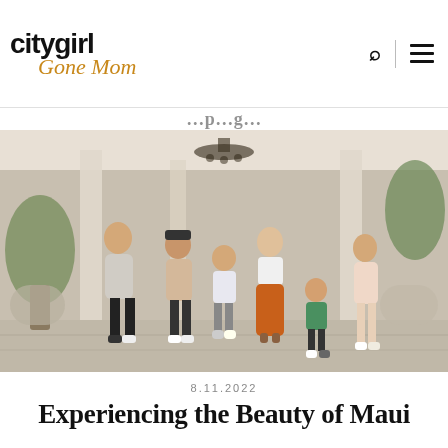city girl Gone Mom
[Figure (photo): Family of six posing together in an open-air resort lobby with columns, chandelier, and tropical plants. Adults and children dressed in casual summer attire.]
8.11.2022
Experiencing the Beauty of Maui